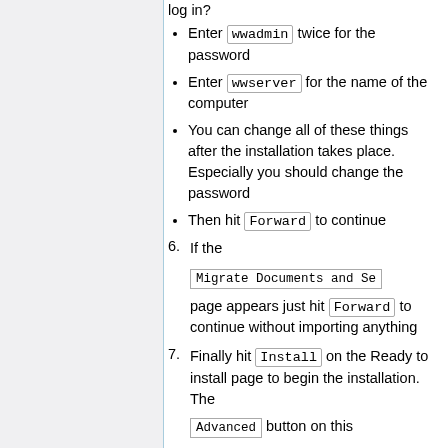Enter wwadmin twice for the password
Enter wwserver for the name of the computer
You can change all of these things after the installation takes place. Especially you should change the password
Then hit Forward to continue
6. If the Migrate Documents and Se page appears just hit Forward to continue without importing anything
7. Finally hit Install on the Ready to install page to begin the installation. The Advanced button on this